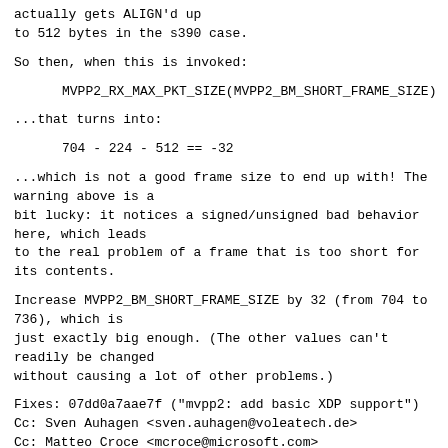actually gets ALIGN'd up
to 512 bytes in the s390 case.
So then, when this is invoked:
MVPP2_RX_MAX_PKT_SIZE(MVPP2_BM_SHORT_FRAME_SIZE)
...that turns into:
704 - 224 - 512 == -32
...which is not a good frame size to end up with! The warning above is a
bit lucky: it notices a signed/unsigned bad behavior here, which leads
to the real problem of a frame that is too short for its contents.
Increase MVPP2_BM_SHORT_FRAME_SIZE by 32 (from 704 to 736), which is
just exactly big enough. (The other values can't readily be changed
without causing a lot of other problems.)
Fixes: 07dd0a7aae7f ("mvpp2: add basic XDP support")
Cc: Sven Auhagen <sven.auhagen@voleatech.de>
Cc: Matteo Croce <mcroce@microsoft.com>
Cc: David S. Miller <davem@davemloft.net>
Signed-off-by: John Hubbard <jhubbard@nvidia.com>
---